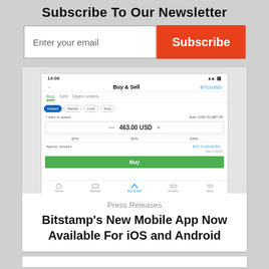Subscribe To Our Newsletter
Enter your email    Subscribe
[Figure (screenshot): Mobile app screenshot showing Bitstamp Buy & Sell interface with BTC/USD pair. Shows order types (Instant, Market, Limit, Stop), amount field showing 463.00 USD, percentage buttons (25%, 50%, 100%), approximate amount BTC 0.13136... and a green Buy button. Bottom navigation bar visible.]
Press Releases
Bitstamp’s New Mobile App Now Available For iOS and Android